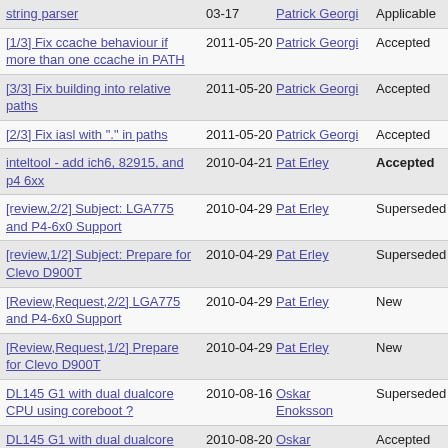| Title | Date | Author | Status |
| --- | --- | --- | --- |
| string parser | 03-17 | Patrick Georgi | Applicable |
| [1/3] Fix ccache behaviour if more than one ccache in PATH | 2011-05-20 | Patrick Georgi | Accepted |
| [3/3] Fix building into relative paths | 2011-05-20 | Patrick Georgi | Accepted |
| [2/3] Fix iasl with "." in paths | 2011-05-20 | Patrick Georgi | Accepted |
| inteltool - add ich6, 82915, and p4 6xx | 2010-04-21 | Pat Erley | Accepted |
| [review,2/2] Subject: LGA775 and P4-6x0 Support | 2010-04-29 | Pat Erley | Superseded |
| [review,1/2] Subject: Prepare for Clevo D900T | 2010-04-29 | Pat Erley | Superseded |
| [Review,Request,2/2] LGA775 and P4-6x0 Support | 2010-04-29 | Pat Erley | New |
| [Review,Request,1/2] Prepare for Clevo D900T | 2010-04-29 | Pat Erley | New |
| DL145 G1 with dual dualcore CPU using coreboot ? | 2010-08-16 | Oskar Enoksson | Superseded |
| DL145 G1 with dual dualcore CPU using coreboot ? | 2010-08-20 | Oskar Enoksson | Accepted |